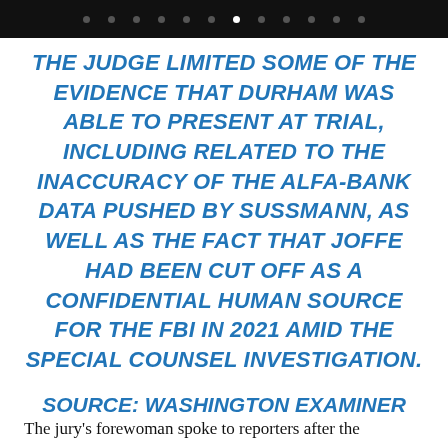[Figure (other): Black top navigation bar with dots (pagination indicators), one white active dot]
THE JUDGE LIMITED SOME OF THE EVIDENCE THAT DURHAM WAS ABLE TO PRESENT AT TRIAL, INCLUDING RELATED TO THE INACCURACY OF THE ALFA-BANK DATA PUSHED BY SUSSMANN, AS WELL AS THE FACT THAT JOFFE HAD BEEN CUT OFF AS A CONFIDENTIAL HUMAN SOURCE FOR THE FBI IN 2021 AMID THE SPECIAL COUNSEL INVESTIGATION.
SOURCE: WASHINGTON EXAMINER
The jury's forewoman spoke to reporters after the